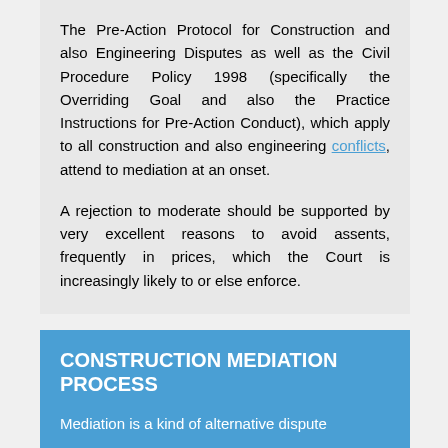The Pre-Action Protocol for Construction and also Engineering Disputes as well as the Civil Procedure Policy 1998 (specifically the Overriding Goal and also the Practice Instructions for Pre-Action Conduct), which apply to all construction and also engineering conflicts, attend to mediation at an onset.
A rejection to moderate should be supported by very excellent reasons to avoid assents, frequently in prices, which the Court is increasingly likely to or else enforce.
CONSTRUCTION MEDIATION PROCESS
Mediation is a kind of alternative dispute